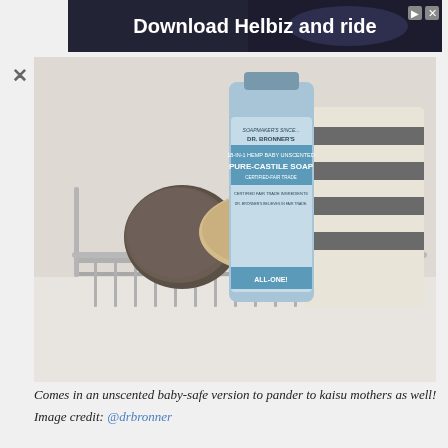[Figure (photo): Advertisement banner: 'Download Helbiz and ride' on dark background with person on scooter]
[Figure (photo): Dr. Bronner's 18-in-1 Hemp Baby Unscented Pure-Castile Soap bottle in a metal wire shower caddy/basket, with a pumice stone, natural loofah, and striped towel in the background]
Comes in an unscented baby-safe version to pander to kaisu mothers as well!
Image credit: @drbronner